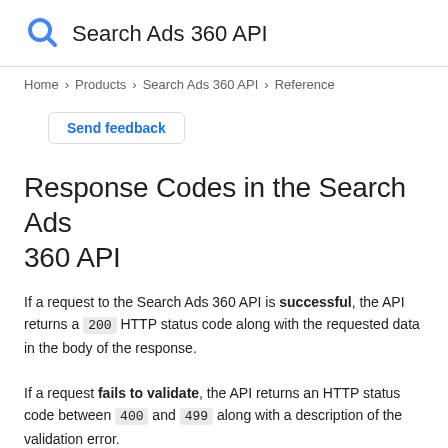Search Ads 360 API
Home > Products > Search Ads 360 API > Reference
Send feedback
Response Codes in the Search Ads 360 API
If a request to the Search Ads 360 API is successful, the API returns a 200 HTTP status code along with the requested data in the body of the response.
If a request fails to validate, the API returns an HTTP status code between 400 and 499 along with a description of the validation error.
If you send a valid Report.get() request but Search Ads 360 is unable to generate a report, the API returns one of